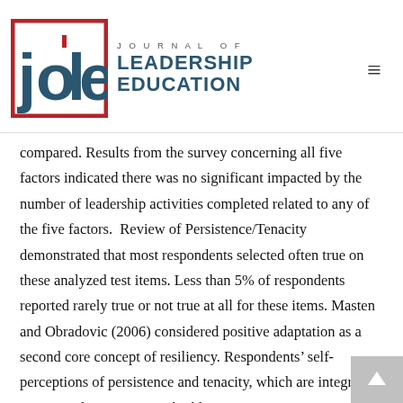JOURNAL OF LEADERSHIP EDUCATION
compared. Results from the survey concerning all five factors indicated there was no significant impacted by the number of leadership activities completed related to any of the five factors.  Review of Persistence/Tenacity demonstrated that most respondents selected often true on these analyzed test items. Less than 5% of respondents reported rarely true or not true at all for these items. Masten and Obradovic (2006) considered positive adaptation as a second core concept of resiliency. Respondents' self-perceptions of persistence and tenacity, which are integral to positive adaptation, were highly positive in ratings among the analyzed questions.
Interestingly, the mean totals for Emotional/Cognitive